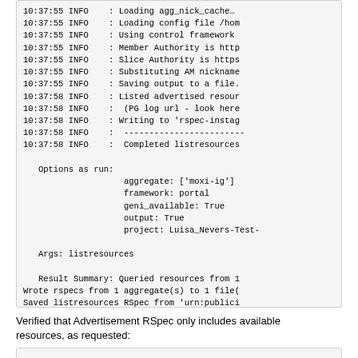[Figure (screenshot): Terminal/log output showing INFO messages with timestamps and options, including listresources command output]
Verified that Advertisement RSpec only includes available resources, as requested:
[Figure (screenshot): Partial code/terminal box at bottom of page]